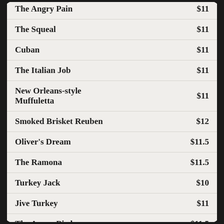| Item | Price |
| --- | --- |
| The Angry Pain (partial) | $11 (partial) |
| The Squeal | $11 |
| Cuban | $11 |
| The Italian Job | $11 |
| New Orleans-style Muffuletta | $11 |
| Smoked Brisket Reuben | $12 |
| Oliver's Dream | $11.5 |
| The Ramona | $11.5 |
| Turkey Jack | $10 |
| Jive Turkey | $11 |
| The Angry Bird | $11.5 |
| Stella's Chicken Salad | $10 |